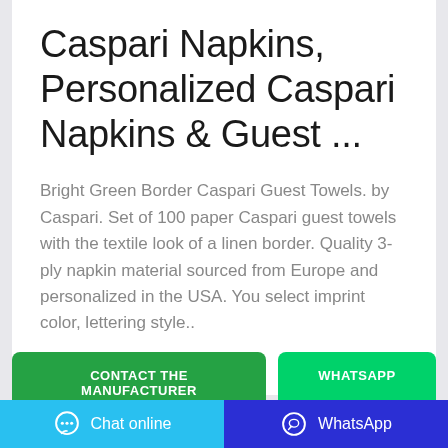Caspari Napkins, Personalized Caspari Napkins & Guest ...
Bright Green Border Caspari Guest Towels. by Caspari. Set of 100 paper Caspari guest towels with the textile look of a linen border. Quality 3-ply napkin material sourced from Europe and personalized in the USA. You select imprint color, lettering style..
CONTACT THE MANUFACTURER
WHATSAPP
Chat online
WhatsApp